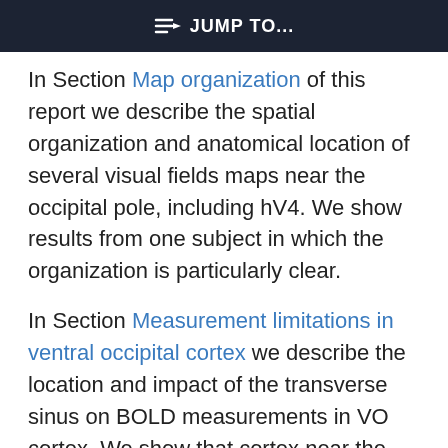≡▷ JUMP TO...
In Section Map organization of this report we describe the spatial organization and anatomical location of several visual fields maps near the occipital pole, including hV4. We show results from one subject in which the organization is particularly clear.
In Section Measurement limitations in ventral occipital cortex we describe the location and impact of the transverse sinus on BOLD measurements in VO cortex. We show that cortex near the sinus responds either unreliably or with misleading signals, masking the true neural response. Further, we show how to identify these regions from functional and anatomical measurements.
This site uses cookies. By continuing to use our website, you are agreeing to our privacy policy. Accept